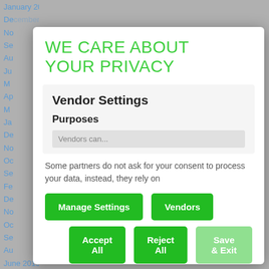January 2018
December 2017
November
September
August
July
March
April
March
January
December
November
October
September
February
December
November
October
September
August
June 2015
WE CARE ABOUT YOUR PRIVACY
Vendor Settings
Purposes
Vendors can...
Some partners do not ask for your consent to process your data, instead, they rely on
Manage Settings
Vendors
Accept All
Reject All
Save & Exit